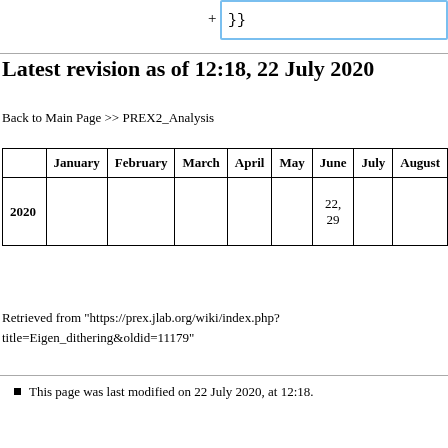[Figure (screenshot): Search box with '+' button and '}}' placeholder text, outlined in blue]
Latest revision as of 12:18, 22 July 2020
Back to Main Page >> PREX2_Analysis
|  | January | February | March | April | May | June | July | August |
| --- | --- | --- | --- | --- | --- | --- | --- | --- |
| 2020 |  |  |  |  |  | 22,
29 |  |  |
Retrieved from "https://prex.jlab.org/wiki/index.php?title=Eigen_dithering&oldid=11179"
This page was last modified on 22 July 2020, at 12:18.